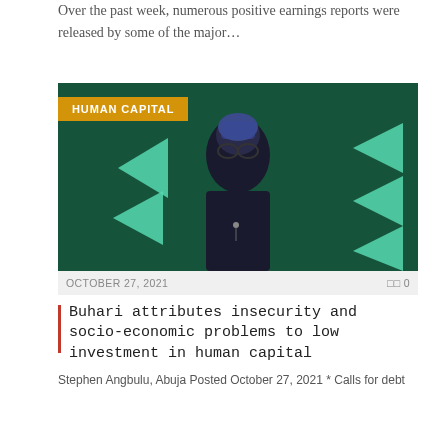Over the past week, numerous positive earnings reports were released by some of the major…
[Figure (photo): A man in a dark traditional Nigerian outfit and blue embroidered cap stands in front of a teal/green background with geometric triangle shapes. Category badge reads HUMAN CAPITAL.]
OCTOBER 27, 2021   0 0
Buhari attributes insecurity and socio-economic problems to low investment in human capital
Stephen Angbulu, Abuja Posted October 27, 2021 * Calls for debt